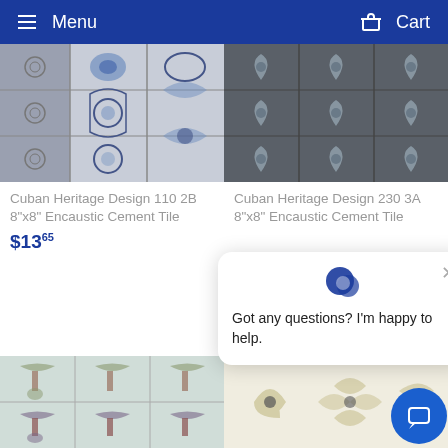Menu | Cart
[Figure (photo): Cuban Heritage Design 110 2B 8"x8" Encaustic Cement Tile - blue and grey patterned tile product image]
[Figure (photo): Cuban Heritage Design 230 3A 8"x8" Encaustic Cement Tile - dark grey floral patterned tile product image]
Cuban Heritage Design 110 2B 8"x8" Encaustic Cement Tile
Cuban Heritage Design 230 3A 8"x8" Encaustic Cement Tile
$13.65
Got any questions? I'm happy to help.
[Figure (photo): Bottom left tile product - colorful encaustic cement tile with blue/red botanical design]
[Figure (photo): Bottom right tile product - cream/gold floral encaustic cement tile design]